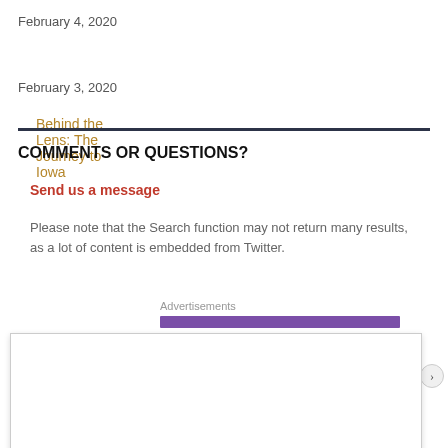February 4, 2020
Behind the Lens: The Journey to Iowa
February 3, 2020
COMMENTS OR QUESTIONS?
Send us a message
Please note that the Search function may not return many results, as a lot of content is embedded from Twitter.
Advertisements
Privacy & Cookies: This site uses cookies. By continuing to use this website, you agree to their use.
To find out more, including how to control cookies, see here: Cookie Policy
Close and accept